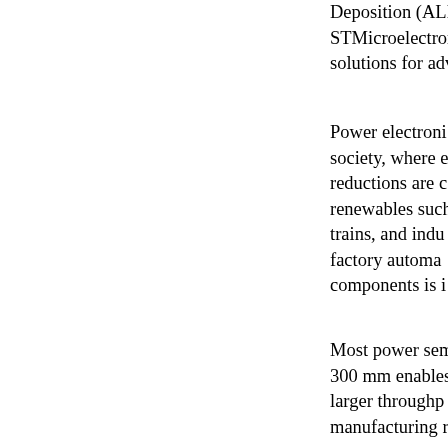Deposition (ALD) STMicroelectronics solutions for adv
Power electronics society, where e reductions are c renewables such trains, and indu factory automa components is i
Most power sem 300 mm enable larger throughp manufacturing r